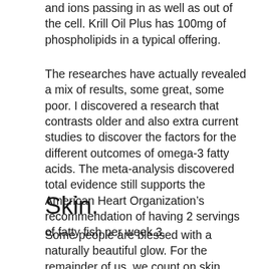and ions passing in as well as out of the cell. Krill Oil Plus has 100mg of phospholipids in a typical offering.
The researches have actually revealed a mix of results, some great, some poor. I discovered a research that contrasts older and also extra current studies to discover the factors for the different outcomes of omega-3 fatty acids. The meta-analysis discovered total evidence still supports the American Heart Organization’s recommendation of having 2 servings of fatty fish per week.3.
Skin.
Some people are blessed with a naturally beautiful glow. For the remainder of us, we count on skin treatment, products and